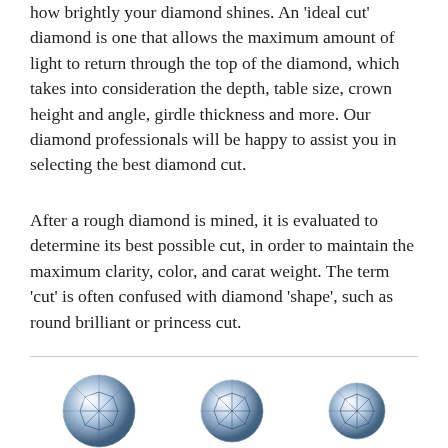how brightly your diamond shines. An 'ideal cut' diamond is one that allows the maximum amount of light to return through the top of the diamond, which takes into consideration the depth, table size, crown height and angle, girdle thickness and more. Our diamond professionals will be happy to assist you in selecting the best diamond cut.
After a rough diamond is mined, it is evaluated to determine its best possible cut, in order to maintain the maximum clarity, color, and carat weight. The term 'cut' is often confused with diamond 'shape', such as round brilliant or princess cut.
[Figure (illustration): Three round brilliant cut diamonds shown in a row, each displaying sparkle and faceting detail]